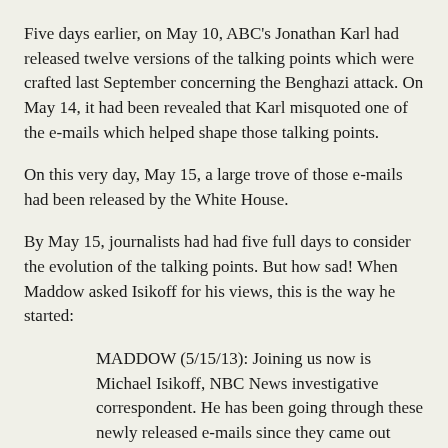Five days earlier, on May 10, ABC's Jonathan Karl had released twelve versions of the talking points which were crafted last September concerning the Benghazi attack. On May 14, it had been revealed that Karl misquoted one of the e-mails which helped shape those talking points.
On this very day, May 15, a large trove of those e-mails had been released by the White House.
By May 15, journalists had had five full days to consider the evolution of the talking points. But how sad! When Maddow asked Isikoff for his views, this is the way he started:
MADDOW (5/15/13): Joining us now is Michael Isikoff, NBC News investigative correspondent. He has been going through these newly released e-mails since they came out tonight.
Mike, thanks for being with us again...What did you learn from these e-mails that might further explain the scandal or at least the politicization of this